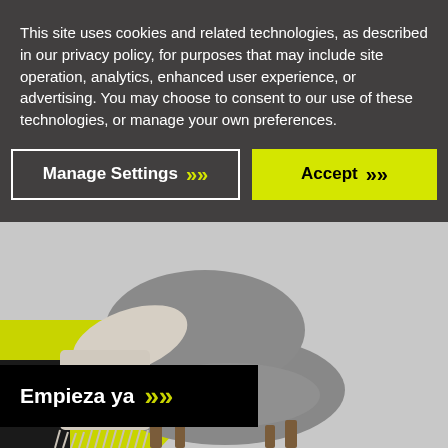[Figure (screenshot): Website background showing a gray armchair with a knit blanket draped over it, on a gray background with yellow diagonal stripes, and a black 'Empieza ya >>' call-to-action button bar.]
This site uses cookies and related technologies, as described in our privacy policy, for purposes that may include site operation, analytics, enhanced user experience, or advertising. You may choose to consent to our use of these technologies, or manage your own preferences.
Manage Settings >>
Accept >>